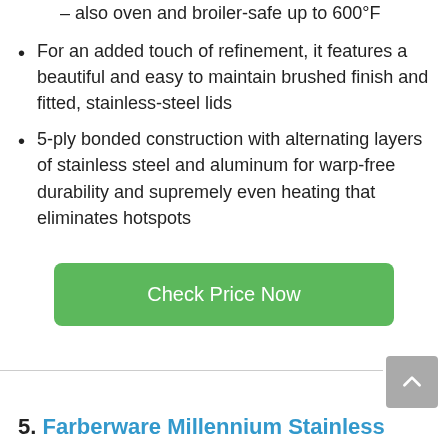– also oven and broiler-safe up to 600°F
For an added touch of refinement, it features a beautiful and easy to maintain brushed finish and fitted, stainless-steel lids
5-ply bonded construction with alternating layers of stainless steel and aluminum for warp-free durability and supremely even heating that eliminates hotspots
Check Price Now
5. Farberware Millennium Stainless